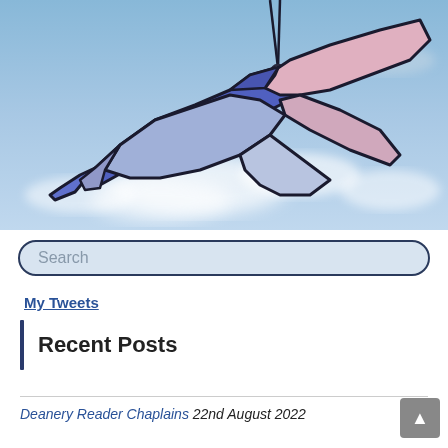[Figure (photo): A stained glass bird (dove/goose) ornament with blue and pink glass wings, hanging against a blue sky with white clouds background]
Search
My Tweets
Recent Posts
Deanery Reader Chaplains 22nd August 2022